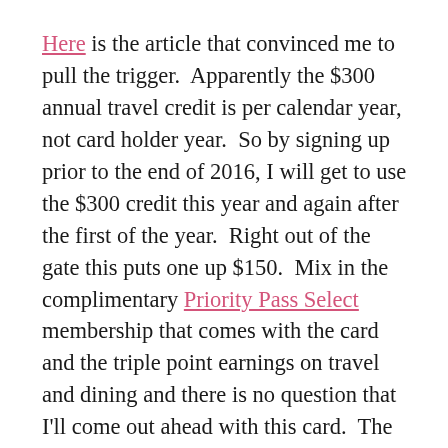Here is the article that convinced me to pull the trigger.  Apparently the $300 annual travel credit is per calendar year, not card holder year.  So by signing up prior to the end of 2016, I will get to use the $300 credit this year and again after the first of the year.  Right out of the gate this puts one up $150.  Mix in the complimentary Priority Pass Select membership that comes with the card and the triple point earnings on travel and dining and there is no question that I'll come out ahead with this card.  The mathematical breakeven points for annual spend are demonstrated here in an article by The Points Guy.